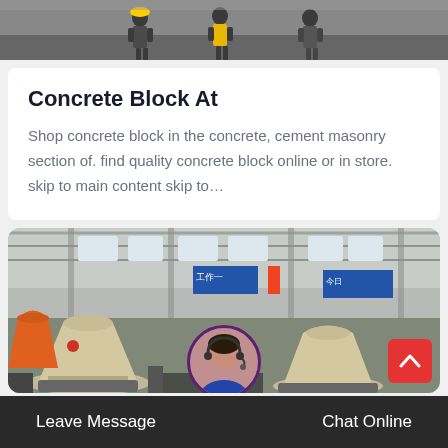[Figure (photo): Workers in safety gear standing in an industrial/construction facility, top portion of photo visible]
Concrete Block At
Shop concrete block in the concrete, cement masonry section of. find quality concrete block online or in store. skip to main content skip to…
[Figure (photo): Interior of a large industrial factory/warehouse with cone-shaped crushing machinery (orange and beige), blue signage with Chinese characters, steel structure roof]
Leave Message   Chat Online